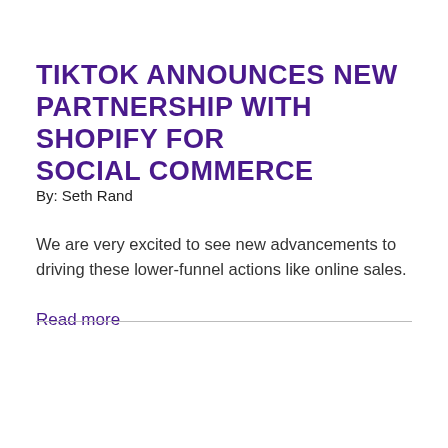TIKTOK ANNOUNCES NEW PARTNERSHIP WITH SHOPIFY FOR SOCIAL COMMERCE
By: Seth Rand
We are very excited to see new advancements to driving these lower-funnel actions like online sales.
Read more